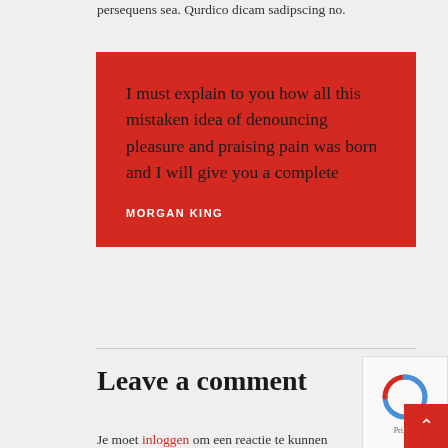persequens sea. Qurdico dicam sadipscing no.
[Figure (infographic): Red quote block with dark text: 'I must explain to you how all this mistaken idea of denouncing pleasure and praising pain was born and I will give you a complete' attributed to MORGAN KING in white bold uppercase text on red background.]
Leave a comment
Je moet inloggen om een reactie te kunnen